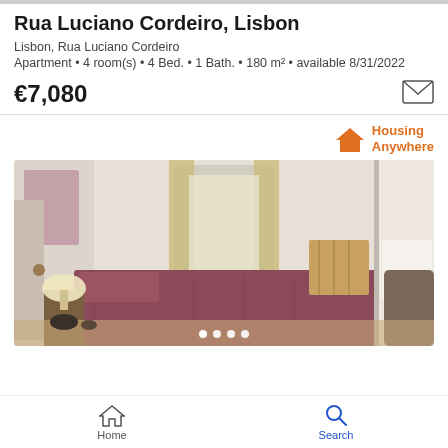Rua Luciano Cordeiro, Lisbon
Lisbon, Rua Luciano Cordeiro
Apartment • 4 room(s) • 4 Bed. • 1 Bath. • 180 m² • available 8/31/2022
€7,080
[Figure (logo): Housing Anywhere logo with orange house icon and brand name]
[Figure (photo): Bedroom interior with mauve/purple bedspread, window with curtains, crib in background, doorway to bathroom on right, lamp on left]
Home   Search